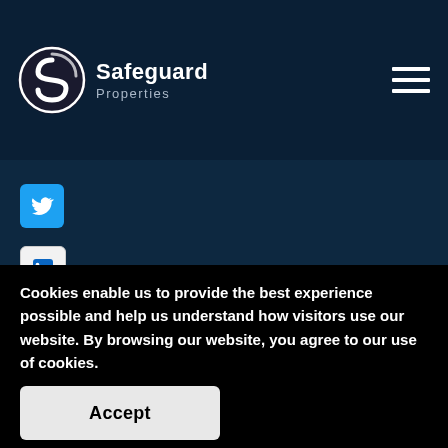[Figure (logo): Safeguard Properties logo with circular S icon and text 'Safeguard Properties']
[Figure (other): Hamburger menu icon (three horizontal white lines) in top right corner]
[Figure (other): Social media icons: Twitter (blue bird icon), LinkedIn (in logo), YouTube (play button) stacked vertically on dark navy background]
Cookies enable us to provide the best experience possible and help us understand how visitors use our website. By browsing our website, you agree to our use of cookies.
Accept